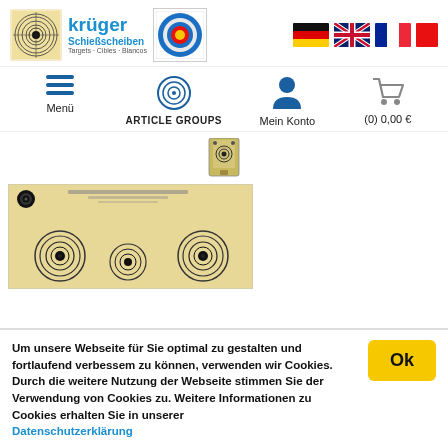[Figure (logo): Krüger Schießscheiben logo with shooting target images and brand name]
[Figure (infographic): Navigation bar with Menü hamburger, ARTICLE GROUPS target icon, Mein Konto user icon, and cart (0) 0,00 €]
[Figure (photo): Product image of a shooting target (Schießscheibe) with multiple bullseye targets on tan paper]
Um unsere Webseite für Sie optimal zu gestalten und fortlaufend verbessem zu können, verwenden wir Cookies. Durch die weitere Nutzung der Webseite stimmen Sie der Verwendung von Cookies zu. Weitere Informationen zu Cookies erhalten Sie in unserer Datenschutzerklärung